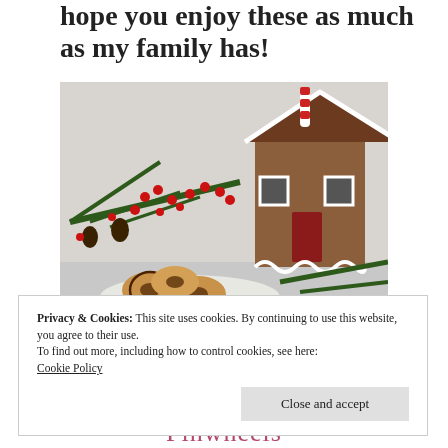hope you enjoy these as much as my family has!
[Figure (photo): Christmas scene with a gingerbread house decorated with candy canes, red berries and pine branches, and a plate of pinwheel cookies in the foreground on a snowy white surface.]
Privacy & Cookies: This site uses cookies. By continuing to use this website, you agree to their use.
To find out more, including how to control cookies, see here:
Cookie Policy
Pinwheels